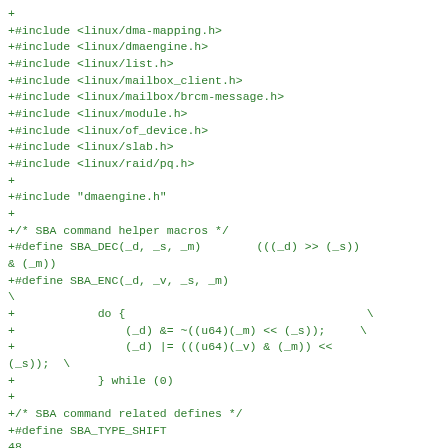+
+#include <linux/dma-mapping.h>
+#include <linux/dmaengine.h>
+#include <linux/list.h>
+#include <linux/mailbox_client.h>
+#include <linux/mailbox/brcm-message.h>
+#include <linux/module.h>
+#include <linux/of_device.h>
+#include <linux/slab.h>
+#include <linux/raid/pq.h>
+
+#include "dmaengine.h"
+
+/* SBA command helper macros */
+#define SBA_DEC(_d, _s, _m)        (((_d) >> (_s))
& (_m))
+#define SBA_ENC(_d, _v, _s, _m)
\
+            do {                                   \
+                (_d) &= ~((u64)(_m) << (_s));     \
+                (_d) |= (((u64)(_v) & (_m)) <<
(_s));  \
+            } while (0)
+
+/* SBA command related defines */
+#define SBA_TYPE_SHIFT
48
+#define SBA_TYPE_MASK